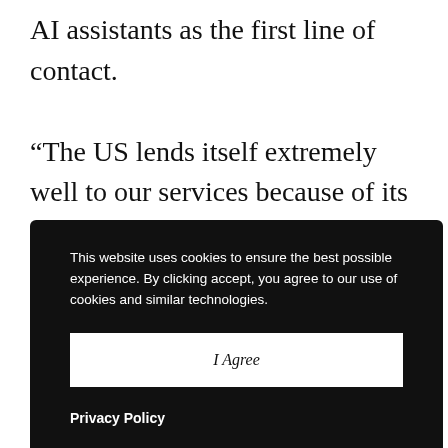AI assistants as the first line of contact.
“The US lends itself extremely well to our services because of its scale and business culture. Our result-driven proposition is well received. After in-depth market analysis, we know which regions
This website uses cookies to ensure the best possible experience. By clicking accept, you agree to our use of cookies and similar technologies.
I Agree
Privacy Policy
as a joint venture between Cinbix and Numa